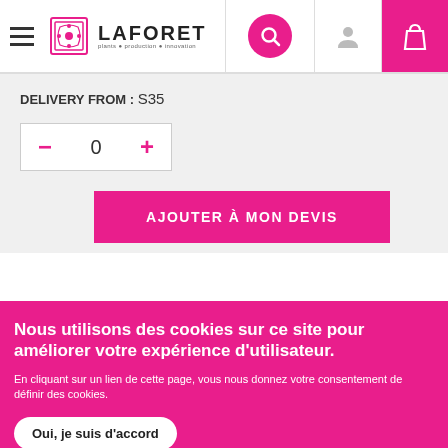[Figure (logo): Laforet logo with hamburger menu, brand icon, and text 'plants • production • innovation']
[Figure (illustration): Search icon (magnifying glass) in pink circle]
[Figure (illustration): User profile icon and shopping bag icon in header]
DELIVERY FROM : S35
- 0 +
AJOUTER À MON DEVIS
Nous utilisons des cookies sur ce site pour améliorer votre expérience d'utilisateur.
En cliquant sur un lien de cette page, vous nous donnez votre consentement de définir des cookies.
Oui, je suis d'accord